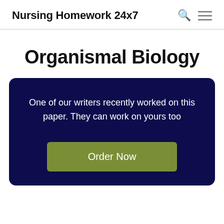Nursing Homework 24x7
Organismal Biology
One of our writers recently worked on this paper. They can work on yours too
Order Now